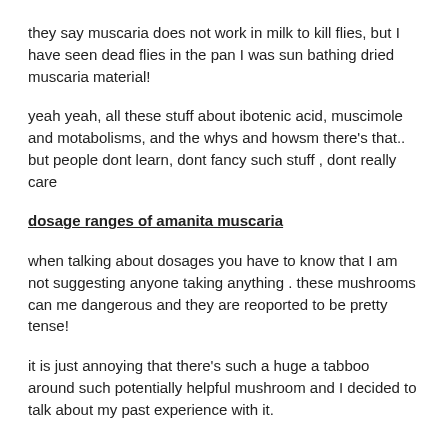they say muscaria does not work in milk to kill flies, but I have seen dead flies in the pan I was sun bathing dried muscaria material!
yeah yeah, all these stuff about ibotenic acid, muscimole and motabolisms, and the whys and howsm there's that.. but people dont learn, dont fancy such stuff , dont really care
dosage ranges of amanita muscaria
when talking about dosages you have to know that I am not suggesting anyone taking anything . these mushrooms can me dangerous and they are reoported to be pretty tense!
it is just annoying that there's such a huge a tabboo around such potentially helpful mushroom and I decided to talk about my past experience with it.
...
I am giving you the quidelines here - I dont even invite you to play - dont play this game if you dont know what it about
note1: reports with european material as opposed to us reports seem to